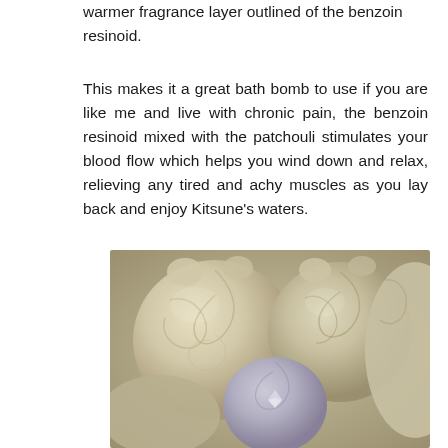warmer fragrance layer outlined of the benzoin resinoid.
This makes it a great bath bomb to use if you are like me and live with chronic pain, the benzoin resinoid mixed with the patchouli stimulates your blood flow which helps you wind down and relax, relieving any tired and achy muscles as you lay back and enjoy Kitsune's waters.
[Figure (photo): A close-up photograph of multiple fox-shaped or swirled bath bombs in pale cream, yellow, and lavender-grey tones, piled together in a basket or container.]